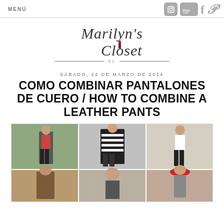MENÚ
[Figure (logo): Marilyn's Closet blog logo with cursive text and lipstick icon, with decorative lines underneath]
SÁBADO, 22 DE MARZO DE 2014
COMO COMBINAR PANTALONES DE CUERO / HOW TO COMBINE A LEATHER PANTS
[Figure (photo): Collage of fashion photos showing women wearing leather pants with various outfits - three photos on top row and partial bottom row visible]